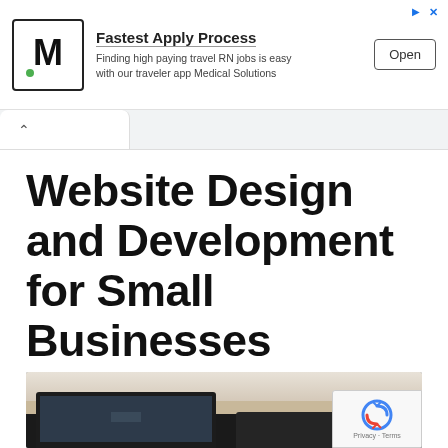[Figure (other): Advertisement banner for Medical Solutions travel RN jobs. Shows M logo, 'Fastest Apply Process' headline, descriptive text, and an Open button.]
[Figure (screenshot): Browser tab bar showing a single open tab with an up-chevron indicator.]
Website Design and Development for Small Businesses
March 24, 2022 by ploluadmin
[Figure (photo): Partial photo showing laptop computers on a desk, cropped at the bottom of the page. A reCAPTCHA widget overlay appears in the bottom-right corner.]